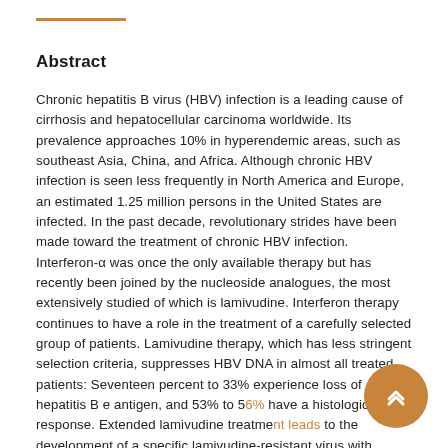Abstract
Chronic hepatitis B virus (HBV) infection is a leading cause of cirrhosis and hepatocellular carcinoma worldwide. Its prevalence approaches 10% in hyperendemic areas, such as southeast Asia, China, and Africa. Although chronic HBV infection is seen less frequently in North America and Europe, an estimated 1.25 million persons in the United States are infected. In the past decade, revolutionary strides have been made toward the treatment of chronic HBV infection. Interferon-α was once the only available therapy but has recently been joined by the nucleoside analogues, the most extensively studied of which is lamivudine. Interferon therapy continues to have a role in the treatment of a carefully selected group of patients. Lamivudine therapy, which has less stringent selection criteria, suppresses HBV DNA in almost all treated patients: Seventeen percent to 33% experience loss of hepatitis B e antigen, and 53% to 56% have a histologic response. Extended lamivudine treatment leads to the development of a specific lamivudine-resistant virus with